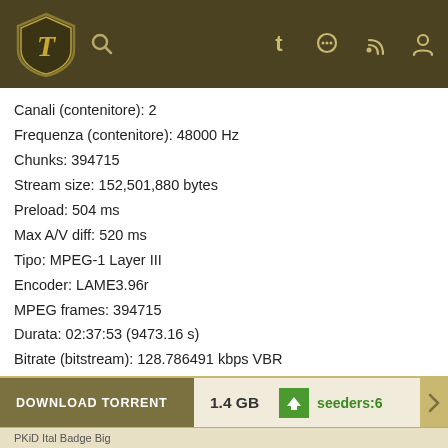Navigation header with logo and icons
Canali (contenitore): 2
Frequenza (contenitore): 48000 Hz
Chunks: 394715
Stream size: 152,501,880 bytes
Preload: 504 ms
Max A/V diff: 520 ms
Tipo: MPEG-1 Layer III
Encoder: LAME3.96r
MPEG frames: 394715
Durata: 02:37:53 (9473.16 s)
Bitrate (bitstream): 128.786491 kbps VBR
Chunk-aligned: Si
Emphasis: none
Mode: joint stereo
Ritardo: 0 ms
DOWNLOAD TORRENT   1.4 GB   seeders:6